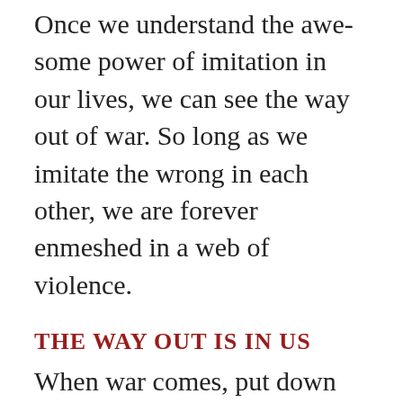Once we understand the awe-some power of imitation in our lives, we can see the way out of war. So long as we imitate the wrong in each other, we are forever enmeshed in a web of violence.
THE WAY OUT IS IN US
When war comes, put down the mirror. The mirror is a trap. When we look to each other and feel the resonance of our collective anger and fear, that's when the binding agents of war take hold.